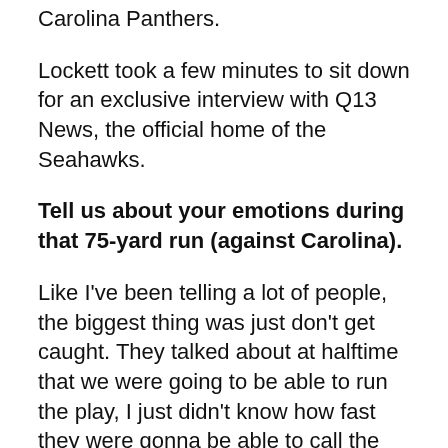Carolina Panthers.
Lockett took a few minutes to sit down for an exclusive interview with Q13 News, the official home of the Seahawks.
Tell us about your emotions during that 75-yard run (against Carolina).
Like I've been telling a lot of people, the biggest thing was just don't get caught. They talked about at halftime that we were going to be able to run the play, I just didn't know how fast they were gonna be able to call the play, and right when I took a knee that was the first play they called.  I went out there, and Brandon, as well as Nick, did a great job being able to hit those